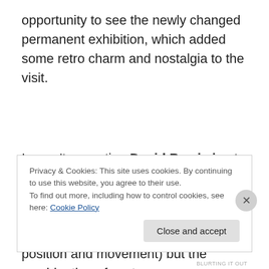opportunity to see the newly changed permanent exhibition, which added some retro charm and nostalgia to the visit.
I wasn't expecting David Bowie is at the V&A to be so big, so comprehensive and so captivating. The automated audio tour didn't always work (very sensitive to your position and movement) but the combination of costumes,
Privacy & Cookies: This site uses cookies. By continuing to use this website, you agree to their use.
To find out more, including how to control cookies, see here: Cookie Policy
Close and accept
BLURTING IT OUT